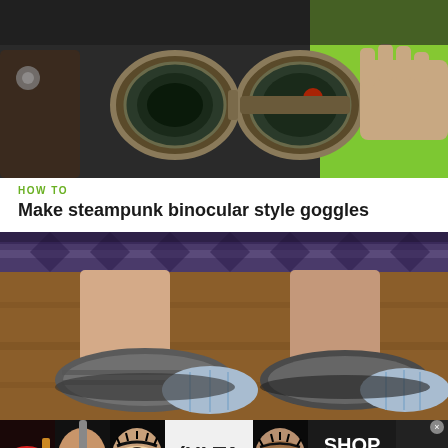[Figure (photo): Hands holding steampunk binocular goggles with circular lenses against a green screen background]
HOW TO
Make steampunk binocular style goggles
[Figure (photo): Close-up of feet wearing striped flat shoes on a wooden floor with a patterned rug]
[Figure (photo): ULTA Beauty advertisement banner with makeup imagery and SHOP NOW call to action]